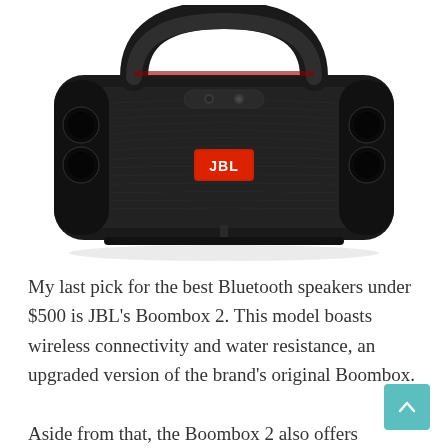[Figure (photo): JBL Boombox 2 portable Bluetooth speaker in black, shown from the front. The speaker has a large curved black mesh grille, a black carrying handle at the top, a red JBL logo badge in the center, and control buttons near the top center.]
My last pick for the best Bluetooth speakers under $500 is JBL's Boombox 2. This model boasts wireless connectivity and water resistance, an upgraded version of the brand's original Boombox.
Aside from that, the Boombox 2 also offers